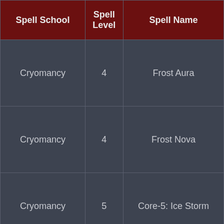| Spell School | Spell Level | Spell Name |
| --- | --- | --- |
| Cryomancy | 4 | Frost Aura |
| Cryomancy | 4 | Frost Nova |
| Cryomancy | 5 | Core-5: Ice Storm |